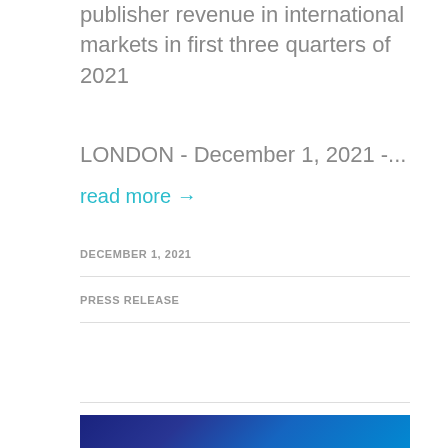publisher revenue in international markets in first three quarters of 2021
LONDON - December 1, 2021 -...
read more →
DECEMBER 1, 2021
PRESS RELEASE
[Figure (photo): Blue gradient background image, partially visible at bottom of page]